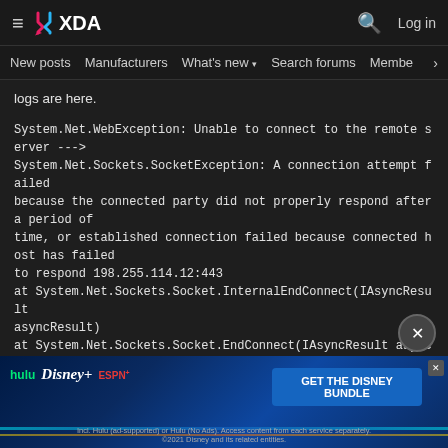XDA Developers — hamburger menu, logo, search, Log in
New posts  Manufacturers  What's new ▾  Search forums  Membe >
logs are here.
System.Net.WebException: Unable to connect to the remote server ---> System.Net.Sockets.SocketException: A connection attempt failed because the connected party did not properly respond after a period of time, or established connection failed because connected host has failed to respond 198.255.114.12:443
at System.Net.Sockets.Socket.InternalEndConnect(IAsyncResult asyncResult)
at System.Net.Sockets.Socket.EndConnect(IAsyncResult asyncResult)
at System.Net.ServicePoint.ConnectSocketInternal(Boolean connectFailure, Socket s4, Socket s6, Socket& socket, IPAddress& address, ConnectSocketState state, IAsyncResult asyncResult, Exception& exception)
--- End of inner exception stack trace ---
at Syste... asyncRe...
at System.Net.WebClient.GetWebResponse(WebRequest request, IAsyncResult result)